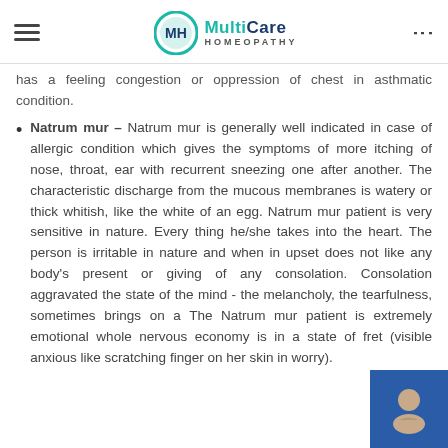MultiCare Homeopathy
has a feeling congestion or oppression of chest in asthmatic condition.
Natrum mur – Natrum mur is generally well indicated in case of allergic condition which gives the symptoms of more itching of nose, throat, ear with recurrent sneezing one after another. The characteristic discharge from the mucous membranes is watery or thick whitish, like the white of an egg. Natrum mur patient is very sensitive in nature. Every thing he/she takes into the heart. The person is irritable in nature and when in upset does not like any body's present or giving of any consolation. Consolation aggravated the state of the mind - the melancholy, the tearfulness, sometimes brings on a The Natrum mur patient is extremely emotional whole nervous economy is in a state of fret (visible anxious like scratching finger on her skin in worry).